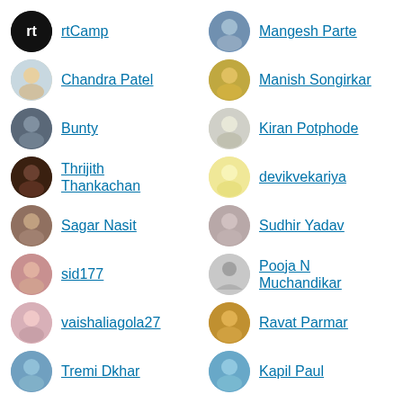rtCamp
Mangesh Parte
Chandra Patel
Manish Songirkar
Bunty
Kiran Potphode
Thrijith Thankachan
devikvekariya
Sagar Nasit
Sudhir Yadav
sid177
Pooja N Muchandikar
vaishaliagola27
Ravat Parmar
Tremi Dkhar
Kapil Paul